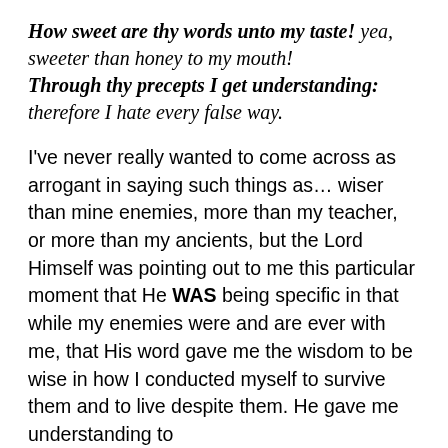How sweet are thy words unto my taste! yea, sweeter than honey to my mouth! Through thy precepts I get understanding: therefore I hate every false way.
I've never really wanted to come across as arrogant in saying such things as… wiser than mine enemies, more than my teacher, or more than my ancients, but the Lord Himself was pointing out to me this particular moment that He WAS being specific in that while my enemies were and are ever with me, that His word gave me the wisdom to be wise in how I conducted myself to survive them and to live despite them. He gave me understanding to